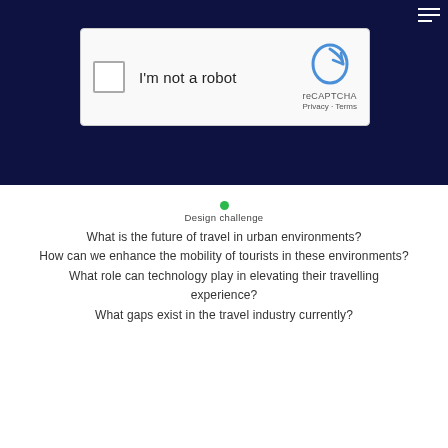[Figure (screenshot): reCAPTCHA widget with checkbox labeled 'I'm not a robot' on a dark navy background]
Design challenge
What is the future of travel in urban environments?
How can we enhance the mobility of tourists in these environments?
What role can technology play in elevating their travelling experience?
What gaps exist in the travel industry currently?